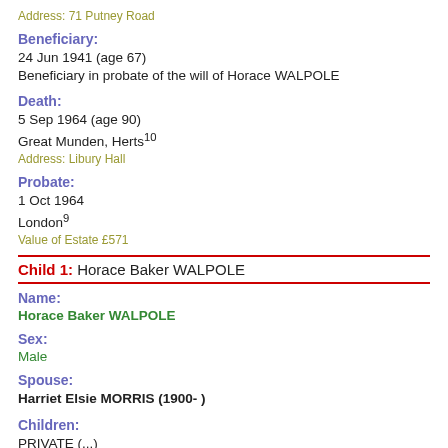Address: 71 Putney Road
Beneficiary:
24 Jun 1941 (age 67)
Beneficiary in probate of the will of Horace WALPOLE
Death:
5 Sep 1964 (age 90)
Great Munden, Herts10
Address: Libury Hall
Probate:
1 Oct 1964
London9
Value of Estate £571
Child 1: Horace Baker WALPOLE
Name:
Horace Baker WALPOLE
Sex:
Male
Spouse:
Harriet Elsie MORRIS (1900- )
Children:
PRIVATE (...)